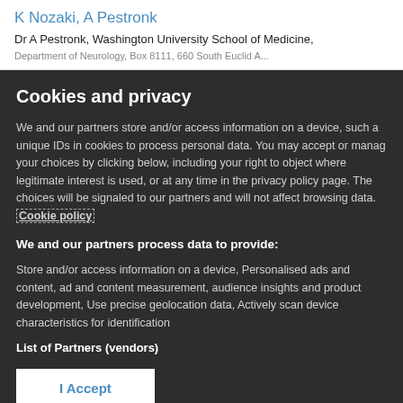K Nozaki, A Pestronk
Dr A Pestronk, Washington University School of Medicine,
Cookies and privacy
We and our partners store and/or access information on a device, such a unique IDs in cookies to process personal data. You may accept or manag your choices by clicking below, including your right to object where legitimate interest is used, or at any time in the privacy policy page. The choices will be signaled to our partners and will not affect browsing data. Cookie policy
We and our partners process data to provide:
Store and/or access information on a device, Personalised ads and content, ad and content measurement, audience insights and product development, Use precise geolocation data, Actively scan device characteristics for identification
List of Partners (vendors)
I Accept